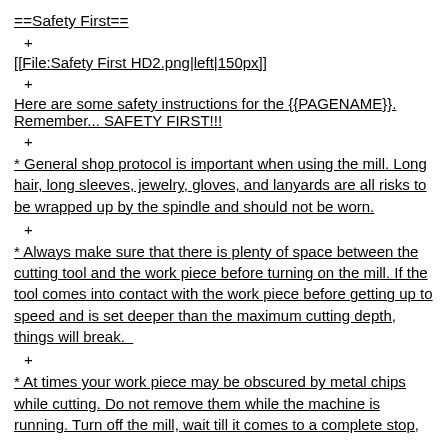==Safety First==
+
[[File:Safety First HD2.png|left|150px]]
+
Here are some safety instructions for the {{PAGENAME}}. Remember... SAFETY FIRST!!!
+
* General shop protocol is important when using the mill. Long hair, long sleeves, jewelry, gloves, and lanyards are all risks to be wrapped up by the spindle and should not be worn.
+
* Always make sure that there is plenty of space between the cutting tool and the work piece before turning on the mill. If the tool comes into contact with the work piece before getting up to speed and is set deeper than the maximum cutting depth, things will break.
+
* At times your work piece may be obscured by metal chips while cutting. Do not remove them while the machine is running. Turn off the mill, wait till it comes to a complete stop,